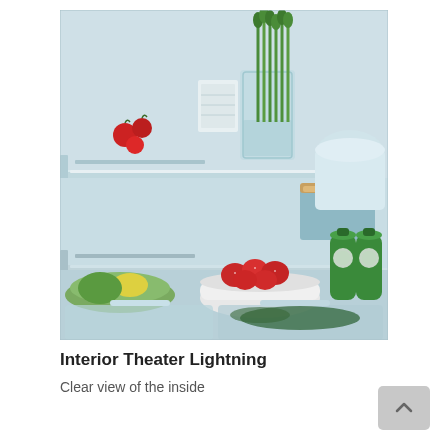[Figure (photo): Interior of a refrigerator showing shelves with asparagus in a glass of water, strawberries in a bowl, green vegetables in a bowl, two green bottles, a container with a wooden lid, tomatoes, and crisper drawers at the bottom with green herbs. The refrigerator is brightly lit.]
Interior Theater Lightning
Clear view of the inside